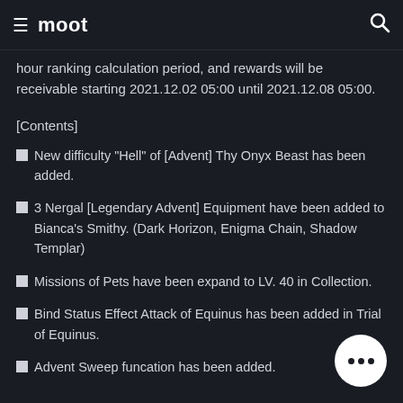moot
hour ranking calculation period, and rewards will be receivable starting 2021.12.02 05:00 until 2021.12.08 05:00.
[Contents]
New difficulty "Hell" of [Advent] Thy Onyx Beast has been added.
3 Nergal [Legendary Advent] Equipment have been added to Bianca's Smithy. (Dark Horizon, Enigma Chain, Shadow Templar)
Missions of Pets have been expand to LV. 40 in Collection.
Bind Status Effect Attack of Equinus has been added in Trial of Equinus.
Advent Sweep funcation has been added.